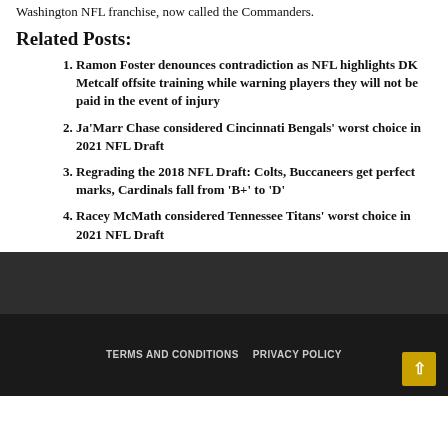Washington NFL franchise, now called the Commanders.
Related Posts:
Ramon Foster denounces contradiction as NFL highlights DK Metcalf offsite training while warning players they will not be paid in the event of injury
Ja'Marr Chase considered Cincinnati Bengals' worst choice in 2021 NFL Draft
Regrading the 2018 NFL Draft: Colts, Buccaneers get perfect marks, Cardinals fall from 'B+' to 'D'
Racey McMath considered Tennessee Titans' worst choice in 2021 NFL Draft
TERMS AND CONDITIONS   PRIVACY POLICY